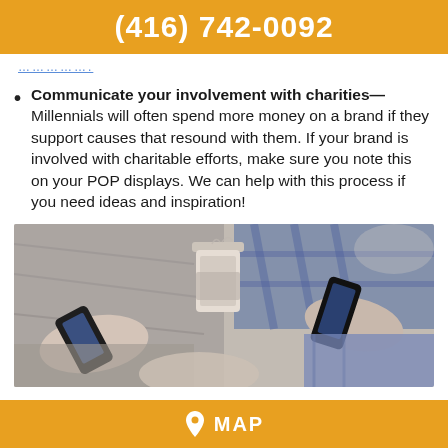(416) 742-0092
……………..
Communicate your involvement with charities— Millennials will often spend more money on a brand if they support causes that resound with them. If your brand is involved with charitable efforts, make sure you note this on your POP displays. We can help with this process if you need ideas and inspiration!
[Figure (photo): Group of young people (millennials) sitting together looking at their smartphones, with coffee cups visible. Close-up shot of hands holding phones.]
MAP